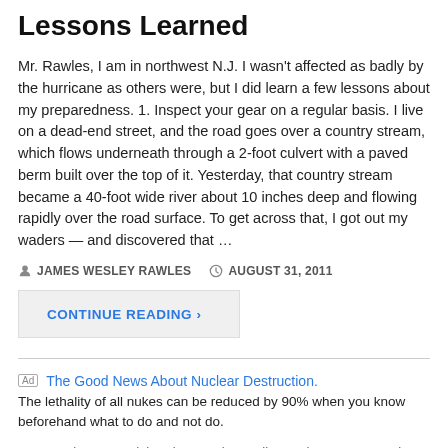Lessons Learned
Mr. Rawles, I am in northwest N.J. I wasn't affected as badly by the hurricane as others were, but I did learn a few lessons about my preparedness. 1. Inspect your gear on a regular basis. I live on a dead-end street, and the road goes over a country stream, which flows underneath through a 2-foot culvert with a paved berm built over the top of it. Yesterday, that country stream became a 40-foot wide river about 10 inches deep and flowing rapidly over the road surface. To get across that, I got out my waders — and discovered that …
JAMES WESLEY RAWLES   AUGUST 31, 2011
CONTINUE READING ›
Ad  The Good News About Nuclear Destruction.
The lethality of all nukes can be reduced by 90% when you know beforehand what to do and not do.
Ad  Patriots - Surviving the Coming Collapse, by James Wesley, Rawles
Patriots is a thrilling narrative depicting fictional characters using authentic survivalist techniques to endure the collapse of the American